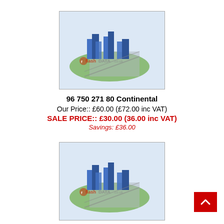[Figure (illustration): 3D isometric illustration of a city/urban area model with buildings, roads, and green spaces, with a watermark logo overlay reading 'flashDATA.co.uk']
96 750 271 80 Continental
Our Price:: £60.00 (£72.00 inc VAT)
SALE PRICE:: £30.00 (36.00 inc VAT)
Savings: £36.00
[Figure (illustration): 3D isometric illustration of a city/urban area model with buildings, roads, and green spaces, with a watermark logo overlay reading 'flashDATA.co.uk']
96 750 281 80 Continental